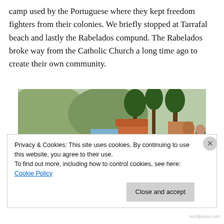camp used by the Portuguese where they kept freedom fighters from their colonies. We briefly stopped at Tarrafal beach and lastly the Rabelados compund. The Rabelados broke way from the Catholic Church a long time ago to create their own community.
[Figure (photo): Outdoor scene at what appears to be a coastal market or beach area. A person wearing sunglasses and a black shirt leans over a boat or surfboard with a Che Guevara image on it. In the background are trees, colorful buildings, and other people.]
Privacy & Cookies: This site uses cookies. By continuing to use this website, you agree to their use.
To find out more, including how to control cookies, see here: Cookie Policy